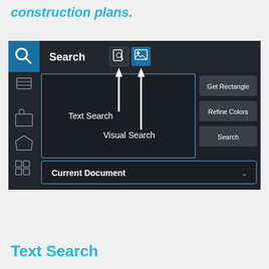construction plans.
[Figure (screenshot): Software UI screenshot showing a Search panel with Text Search and Visual Search icons labeled with white arrows, and buttons: Get Rectangle, Refine Colors, Search, plus a Current Document dropdown. Dark-themed interface with a left sidebar showing navigation icons.]
Text Search